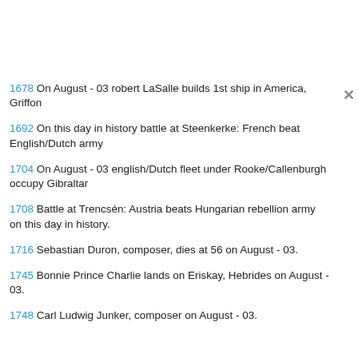1678  On August - 03 robert LaSalle builds 1st ship in America, Griffon
1692  On this day in history battle at Steenkerke: French beat English/Dutch army
1704  On August - 03 english/Dutch fleet under Rooke/Callenburgh occupy Gibraltar
1708  Battle at Trencsén: Austria beats Hungarian rebellion army on this day in history.
1716  Sebastian Duron, composer, dies at 56 on August - 03.
1745  Bonnie Prince Charlie lands on Eriskay, Hebrides on August - 03.
1748  Carl Ludwig Junker, composer on August - 03.